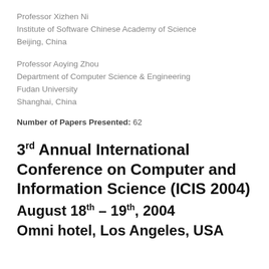Professor Xizhen Ni
Institute of Software Chinese Academy of Science
Beijing, China
Professor Aoying Zhou
Department of Computer Science & Engineering
Fudan University
Shanghai, China
Number of Papers Presented: 62
3rd Annual International Conference on Computer and Information Science (ICIS 2004)
August 18th – 19th, 2004
Omni hotel, Los Angeles, USA